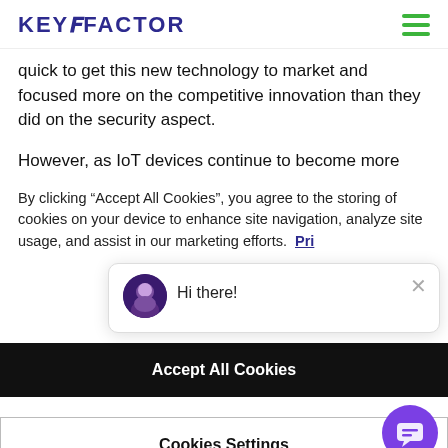KEYFACTOR
quick to get this new technology to market and focused more on the competitive innovation than they did on the security aspect.
However, as IoT devices continue to become more
By clicking “Accept All Cookies”, you agree to the storing of cookies on y navigation, analyze si marketing efforts.  Pri
Hi there!
Accept All Cookies
Cookies Settings